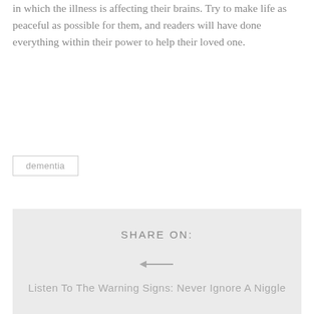in which the illness is affecting their brains. Try to make life as peaceful as possible for them, and readers will have done everything within their power to help their loved one.
dementia
SHARE ON:
[Figure (other): Pinterest Save button in red with Pinterest logo icon]
Listen To The Warning Signs: Never Ignore A Niggle